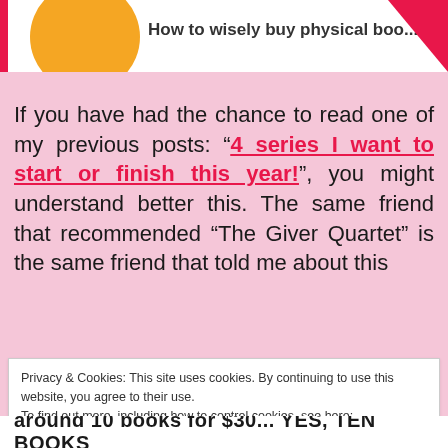How to wisely buy physical boo...
If you have had the chance to read one of my previous posts: ‘4 series I want to start or finish this year!’, you might understand better this. The same friend that recommended “The Giver Quartet” is the same friend that told me about this
Privacy & Cookies: This site uses cookies. By continuing to use this website, you agree to their use.
To find out more, including how to control cookies, see here:
Cookie Policy
Close and accept
around 10 books for $30... YES, TEN BOOKS